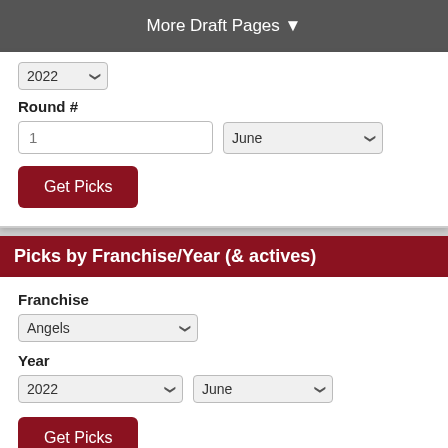More Draft Pages ▼
Round #
1
June
Get Picks
Picks by Franchise/Year (& actives)
Franchise
Angels
Year
2022
June
Get Picks